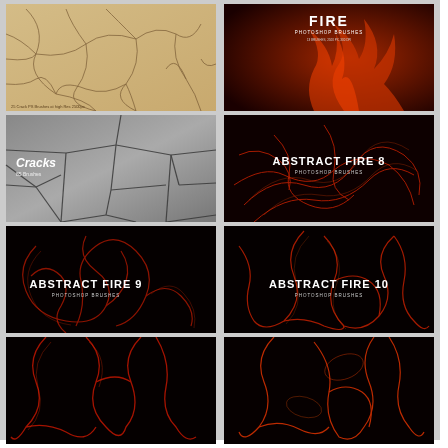[Figure (photo): Cracked dry earth texture, beige/tan color with dark crack lines, small text at bottom left]
[Figure (photo): Fire photoshop brushes — red/orange flames on dark background with title FIRE PHOTOSHOP BRUSHES]
[Figure (photo): Cracked concrete/asphalt texture in grayscale, labeled Cracks 85 Brushes]
[Figure (photo): Abstract Fire 8 Photoshop Brushes — dark background with glowing red swirling lines]
[Figure (photo): Abstract Fire 9 Photoshop Brushes — black background with red glowing abstract smoke/fire swirls]
[Figure (photo): Abstract Fire 10 Photoshop Brushes — black background with red/orange glowing swirling abstract forms]
[Figure (photo): Partial view — dark background with abstract red glowing forms, bottom row left]
[Figure (photo): Partial view — dark background with orange/red glowing abstract swirls, bottom row right]